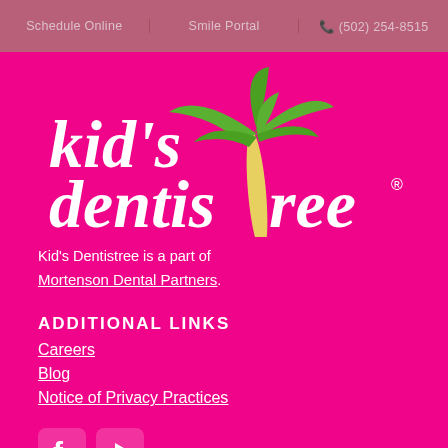Schedule Online | Smile Portal | (502) 254-8515
[Figure (logo): Kid's Dentistree logo: white serif text 'kid's dentistree' with a palm tree illustration replacing the letter 't' in 'dentistree', palm fronds in green, trunk in yellow-cream, on bright magenta background. Registered trademark symbol after 'dentistree'.]
Kid's Dentistree is a part of Mortenson Dental Partners.
ADDITIONAL LINKS
Careers
Blog
Notice of Privacy Practices
[Figure (other): Social media icons: Facebook icon (rounded square with 'f' logo) and YouTube icon (rounded square with play button triangle), both white on slightly lighter magenta rounded square backgrounds.]